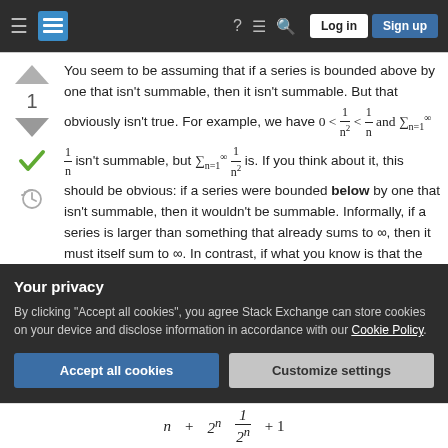Stack Exchange navigation bar with hamburger menu, logo, question mark, chat, search icons, Log in and Sign up buttons
You seem to be assuming that if a series is bounded above by one that isn't summable, then it isn't summable. But that obviously isn't true. For example, we have 0 < 1/n² < 1/n and Σ(n=1 to ∞) 1/n isn't summable, but Σ(n=1 to ∞) 1/n² is. If you think about it, this should be obvious: if a series were bounded below by one that isn't summable, then it wouldn't be summable. Informally, if a series is larger than something that already sums to ∞, then it must itself sum to ∞. In contrast, if what you know is that the series is smaller than something that sums to ∞, that
Your privacy
By clicking "Accept all cookies", you agree Stack Exchange can store cookies on your device and disclose information in accordance with our Cookie Policy.